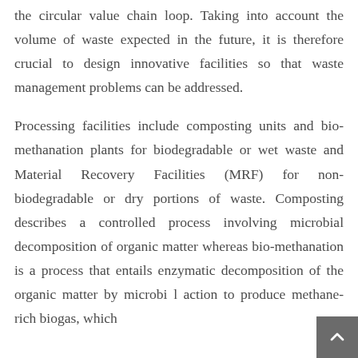the circular value chain loop. Taking into account the volume of waste expected in the future, it is therefore crucial to design innovative facilities so that waste management problems can be addressed.
Processing facilities include composting units and bio-methanation plants for biodegradable or wet waste and Material Recovery Facilities (MRF) for non-biodegradable or dry portions of waste. Composting describes a controlled process involving microbial decomposition of organic matter whereas bio-methanation is a process that entails enzymatic decomposition of the organic matter by microbial action to produce methane-rich biogas, which